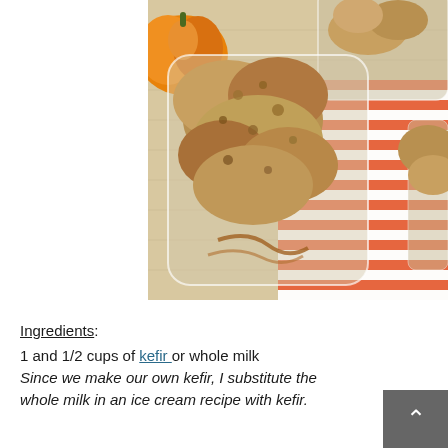[Figure (photo): Overhead photo of pumpkin spice ice cream scoops in glass containers, with an orange pumpkin and red/white striped cloth in the background]
Ingredients:
1 and 1/2 cups of kefir or whole milk Since we make our own kefir, I substitute the whole milk in an ice cream recipe with kefir.